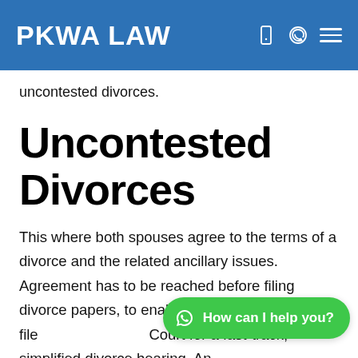PKWA LAW
uncontested divorces.
Uncontested Divorces
This where both spouses agree to the terms of a divorce and the related ancillary issues. Agreement has to be reached before filing divorce papers, to enable a lawyer to file [in] Court for a fast-track, simplified divorce hearing. An